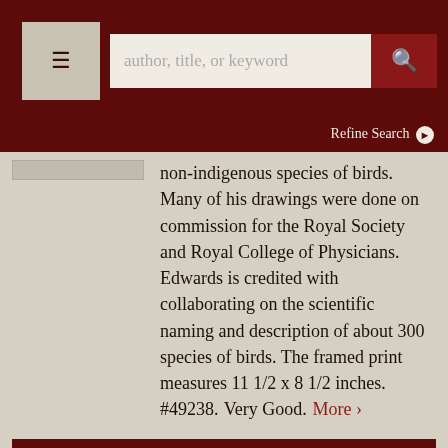author, title, or keyword | Refine Search
non-indigenous species of birds. Many of his drawings were done on commission for the Royal Society and Royal College of Physicians. Edwards is credited with collaborating on the scientific naming and description of about 300 species of birds. The framed print measures 11 1/2 x 8 1/2 inches. #49238. Very Good. More ›
ADD TO CART
Price: $480.00
Item Details